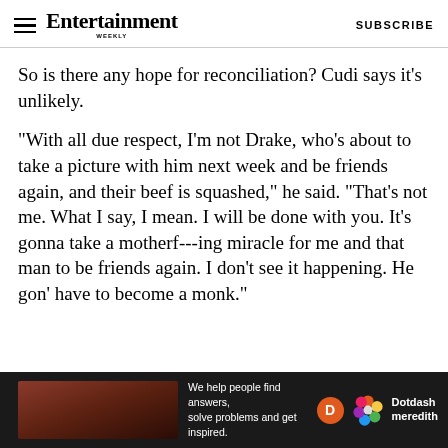Entertainment Weekly — SUBSCRIBE
So is there any hope for reconciliation? Cudi says it's unlikely.
"With all due respect, I'm not Drake, who's about to take a picture with him next week and be friends again, and their beef is squashed," he said. "That's not me. What I say, I mean. I will be done with you. It's gonna take a motherf---ing miracle for me and that man to be friends again. I don't see it happening. He gon' have to become a monk."
[Figure (advertisement): Dotdash Meredith advertisement with dark background, text 'We help people find answers, solve problems and get inspired.' with orange D logo and colorful flower logo]